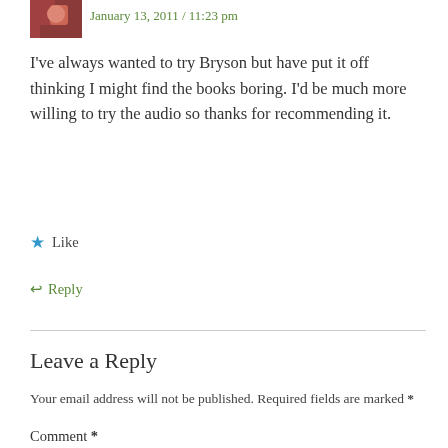January 13, 2011 / 11:23 pm
I've always wanted to try Bryson but have put it off thinking I might find the books boring. I'd be much more willing to try the audio so thanks for recommending it.
★ Like
↩ Reply
Leave a Reply
Your email address will not be published. Required fields are marked *
Comment *